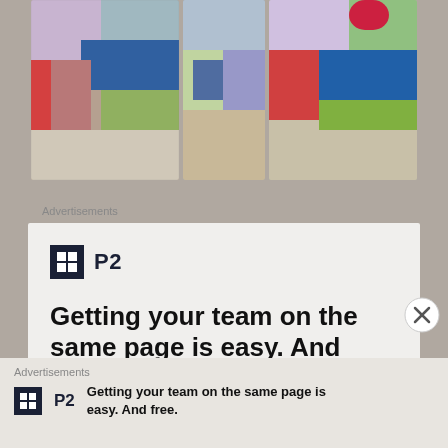[Figure (photo): Three quilt/textile artworks shown side by side: colorful patchwork fabric pieces with abstract patterns in purple, red, blue, green, and earth tones]
Advertisements
[Figure (infographic): P2 advertisement. Logo: black square with grid icon and 'P2' text. Headline: 'Getting your team on the same page is easy. And free.' Three circular portrait photos and a blue plus button below.]
Advertisements
Getting your team on the same page is easy. And free.